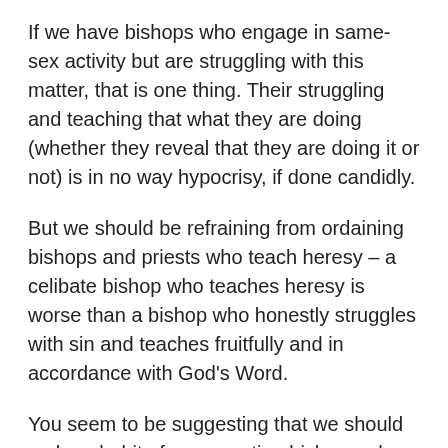If we have bishops who engage in same-sex activity but are struggling with this matter, that is one thing. Their struggling and teaching that what they are doing (whether they reveal that they are doing it or not) is in no way hypocrisy, if done candidly.
But we should be refraining from ordaining bishops and priests who teach heresy – a celibate bishop who teaches heresy is worse than a bishop who honestly struggles with sin and teaches fruitfully and in accordance with God's Word.
You seem to be suggesting that we should make a habit of consecrating bishops who have in the past made public sins that they have committed,